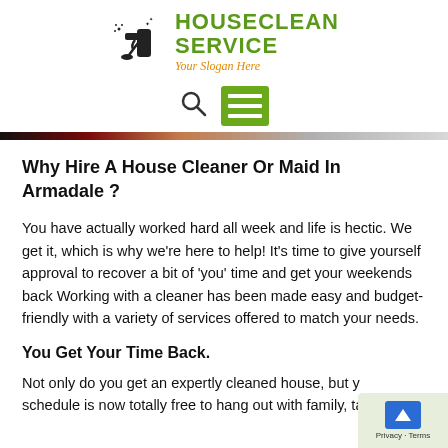[Figure (logo): HouseClean Service logo with cleaning spray bottle icon, green bold text 'HOUSECLEAN SERVICE' and orange italic slogan 'Your Slogan Here']
[Figure (infographic): Navigation bar with search icon (magnifying glass) and green hamburger menu button]
Why Hire A House Cleaner Or Maid In Armadale ?
You have actually worked hard all week and life is hectic. We get it, which is why we're here to help! It's time to give yourself approval to recover a bit of 'you' time and get your weekends back Working with a cleaner has been made easy and budget-friendly with a variety of services offered to match your needs.
You Get Your Time Back.
Not only do you get an expertly cleaned house, but your schedule is now totally free to hang out with family, take